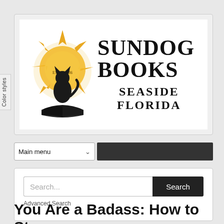[Figure (logo): Sundog Books logo with golden sun and black dog silhouette illustration on left, text 'SUNDOG BOOKS SEASIDE FLORIDA' on right]
Color styles
Main menu
Search...
Search
Advanced Search
You Are a Badass: How to Stop